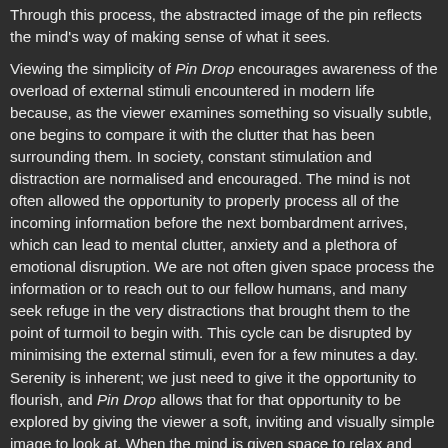Through this process, the abstracted image of the pin reflects the mind's way of making sense of what it sees.
Viewing the simplicity of Pin Drop encourages awareness of the overload of external stimuli encountered in modern life because, as the viewer examines something so visually subtle, one begins to compare it with the clutter that has been surrounding them. In society, constant stimulation and distraction are normalised and encouraged. The mind is not often allowed the opportunity to properly process all of the incoming information before the next bombardment arrives, which can lead to mental clutter, anxiety and a plethora of emotional disruption. We are not often given space process the information or to reach out to our fellow humans, and many seek refuge in the very distractions that brought them to the point of turmoil to begin with. This cycle can be disrupted by minimising the external stimuli, even for a few minutes a day. Serenity is inherent; we just need to give it the opportunity to flourish, and Pin Drop allows that for that opportunity to be explored by giving the viewer a soft, inviting and visually simple image to look at. When the mind is given space to relax and view an image that does not seek to bombard, it opens up the possibility to reflect on how one is emotionally and physically feeling.